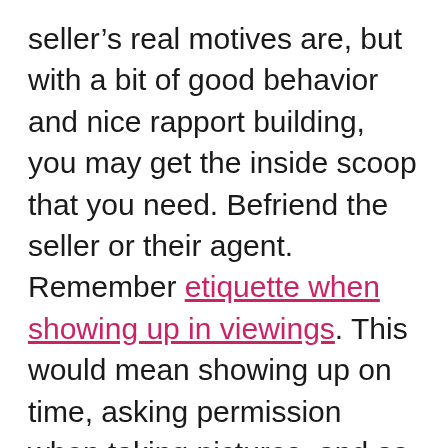seller's real motives are, but with a bit of good behavior and nice rapport building, you may get the inside scoop that you need. Befriend the seller or their agent. Remember etiquette when showing up in viewings. This would mean showing up on time, asking permission when taking pictures, and as much as possible, keeping your visiting crew minimal (read: leave your kids with their babysitter). The bottom line is, get to the bottom of the seller's “whys” and